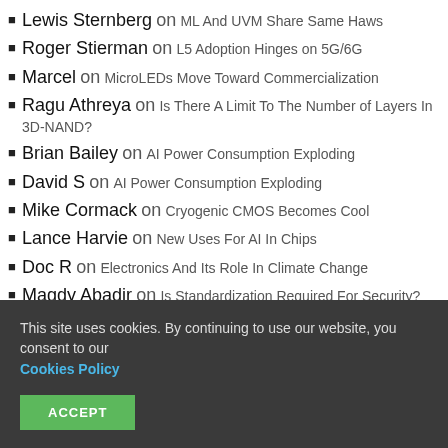Lewis Sternberg on ML And UVM Share Same Haws
Roger Stierman on L5 Adoption Hinges on 5G/6G
Marcel on MicroLEDs Move Toward Commercialization
Ragu Athreya on Is There A Limit To The Number of Layers In 3D-NAND?
Brian Bailey on AI Power Consumption Exploding
David S on AI Power Consumption Exploding
Mike Cormack on Cryogenic CMOS Becomes Cool
Lance Harvie on New Uses For AI In Chips
Doc R on Electronics And Its Role In Climate Change
Magdy Abadir on Is Standardization Required For Security?
guest on How Overlay Keeps Pace With EUV Patterning
This site uses cookies. By continuing to use our website, you consent to our Cookies Policy
ACCEPT